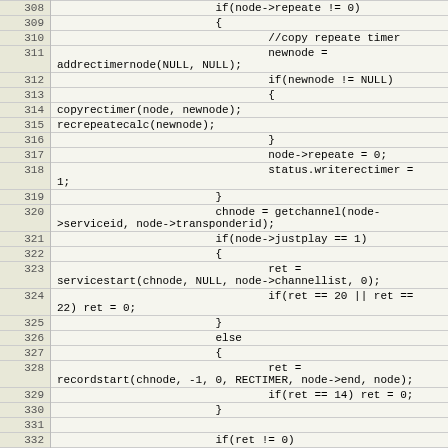[Figure (screenshot): Source code listing showing lines 308-333 of a C program with timer and channel management logic including functions like addrectimernode, copyrectimer, recrepeatecalc, getchannel, servicestart, and recordstart.]